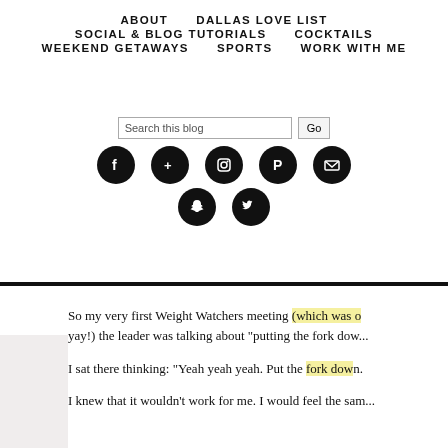ABOUT   DALLAS LOVE LIST   SOCIAL & BLOG TUTORIALS   COCKTAILS   WEEKEND GETAWAYS   SPORTS   WORK WITH ME
[Figure (screenshot): Search bar with 'Search this blog' placeholder text and a 'Go' button]
[Figure (infographic): Row of black circular social media icons: Facebook, Google+, Instagram, Pinterest, Email, Snapchat, Twitter]
So my very first Weight Watchers meeting (which was o... yay!) the leader was talking about "putting the fork dow...
I sat there thinking: "Yeah yeah yeah. Put the fork down.
I knew that it wouldn't work for me. I would feel the sam...